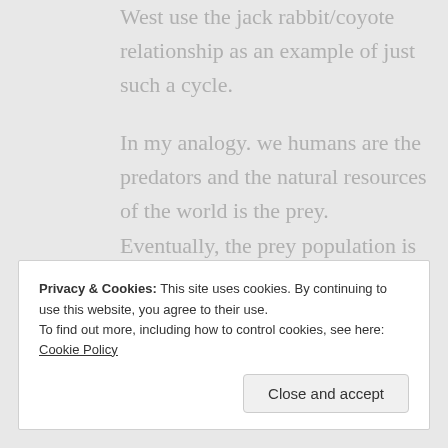West use the jack rabbit/coyote relationship as an example of just such a cycle.
In my analogy. we humans are the predators and the natural resources of the world is the prey. Eventually, the prey population is going to crash and we humans will suffer for it.
★ Like . —
Privacy & Cookies: This site uses cookies. By continuing to use this website, you agree to their use.
To find out more, including how to control cookies, see here: Cookie Policy